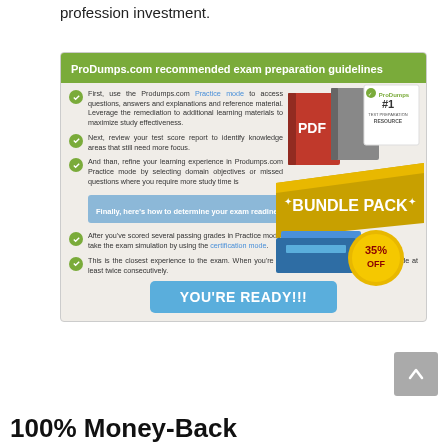profession investment.
[Figure (infographic): ProDumps.com recommended exam preparation guidelines infographic with green checkmark bullet points, a bundle pack product image with 35% off badge, and a YOU'RE READY!!! button]
[Figure (other): Gray scroll-to-top button with upward arrow]
100% Money-Back